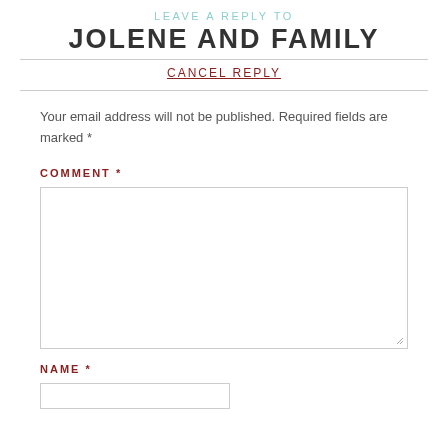LEAVE A REPLY TO
JOLENE AND FAMILY
CANCEL REPLY
Your email address will not be published. Required fields are marked *
COMMENT *
[Figure (other): Comment text area input box]
NAME *
[Figure (other): Name text input box]